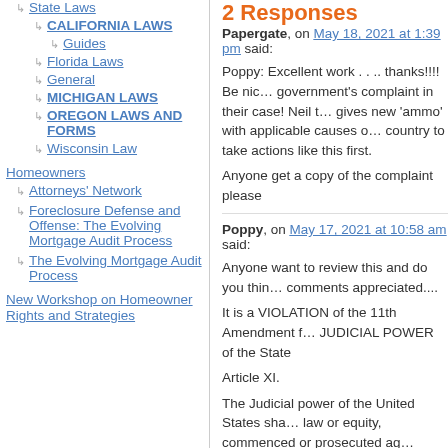State Laws
CALIFORNIA LAWS
Guides
Florida Laws
General
MICHIGAN LAWS
OREGON LAWS AND FORMS
Wisconsin Law
Homeowners
Attorneys' Network
Foreclosure Defense and Offense: The Evolving Mortgage Audit Process
The Evolving Mortgage Audit Process
New Workshop on Homeowner Rights and Strategies
2 Responses
Papergate, on May 18, 2021 at 1:39 pm said:
Poppy: Excellent work . . .. thanks!!!! Be nice to see the government's complaint in their case! Neil this gives new 'ammo' with applicable causes of country to take actions like this first.
Anyone get a copy of the complaint please
Poppy, on May 17, 2021 at 10:58 am said:
Anyone want to review this and do you think comments appreciated....
It is a VIOLATION of the 11th Amendment f... JUDICIAL POWER of the State
Article XI.
The Judicial power of the United States sha... law or equity, commenced or prosecuted ag... another State, or by Citizens or Subjects of
US citizens (FEDERAL CITIZENS) are FOR...